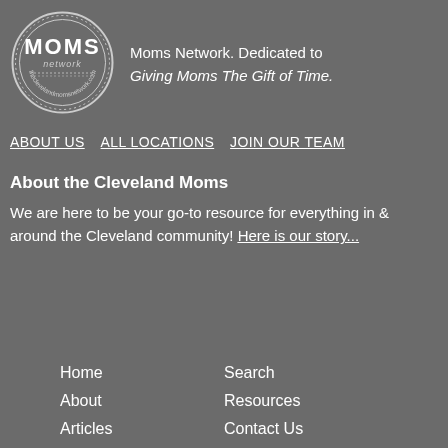[Figure (logo): Moms Network circular logo with text 'MOMS network' and website URL around the border]
Moms Network. Dedicated to Giving Moms The Gift of Time.
ABOUT US   ALL LOCATIONS   JOIN OUR TEAM
About the Cleveland Moms
We are here to be your go-to resource for everything in & around the Cleveland community! Here is our story...
Home
Search
About
Resources
Articles
Contact Us